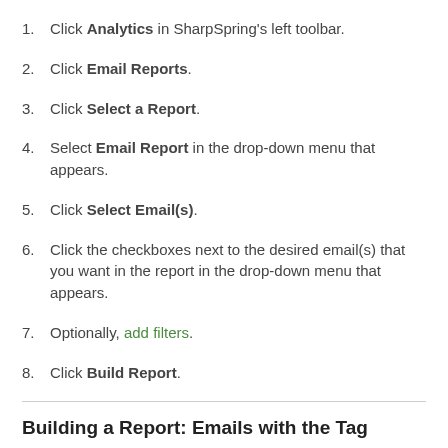Click Analytics in SharpSpring's left toolbar.
Click Email Reports.
Click Select a Report.
Select Email Report in the drop-down menu that appears.
Click Select Email(s).
Click the checkboxes next to the desired email(s) that you want in the report in the drop-down menu that appears.
Optionally, add filters.
Click Build Report.
Building a Report: Emails with the Tag